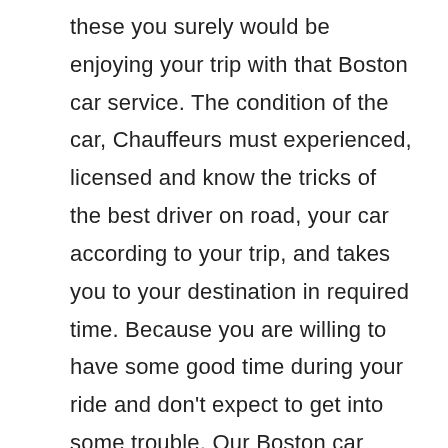these you surely would be enjoying your trip with that Boston car service. The condition of the car, Chauffeurs must experienced, licensed and know the tricks of the best driver on road, your car according to your trip, and takes you to your destination in required time. Because you are willing to have some good time during your ride and don't expect to get into some trouble. Our Boston car service can fulfill your desire of getting these things into your trip. Because of such things we always tend to make our service even better than other, and our top Car service always knows the needs of such customers.